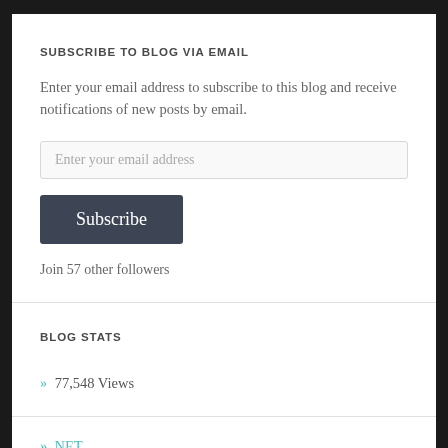SUBSCRIBE TO BLOG VIA EMAIL
Enter your email address to subscribe to this blog and receive notifications of new posts by email.
Join 57 other followers
BLOG STATS
» 77,548 Views
» .NET